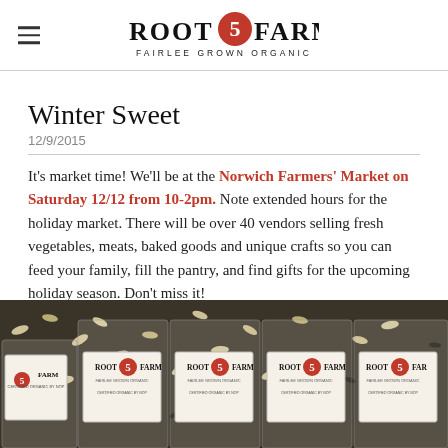Root 5 Farm — Fairlee Grown Organic
Winter Sweet
12/9/2015
It's market time! We'll be at the Norwich Farmers' Market on Saturday 12/12 from 10-2pm. Note extended hours for the holiday market. There will be over 40 vendors selling fresh vegetables, meats, baked goods and unique crafts so you can feed your family, fill the pantry, and find gifts for the upcoming holiday season. Don't miss it!
[Figure (photo): Bags of Root 5 Farm seeds with branded labels showing 'Root 5 Farm – Fairlee Grown Organic – Certified Organic by NOP', displayed side by side against a background of mixed seeds]